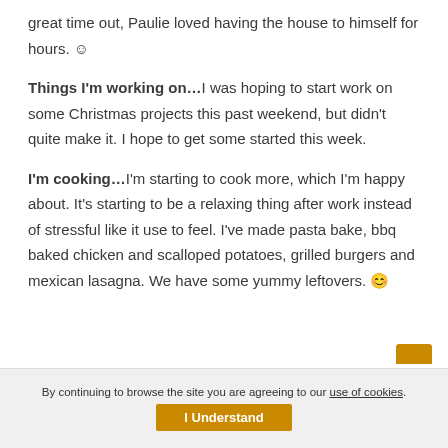great time out, Paulie loved having the house to himself for hours. ☺
Things I'm working on…I was hoping to start work on some Christmas projects this past weekend, but didn't quite make it. I hope to get some started this week.
I'm cooking…I'm starting to cook more, which I'm happy about. It's starting to be a relaxing thing after work instead of stressful like it use to feel. I've made pasta bake, bbq baked chicken and scalloped potatoes, grilled burgers and mexican lasagna. We have some yummy leftovers. 😊
By continuing to browse the site you are agreeing to our use of cookies. I Understand